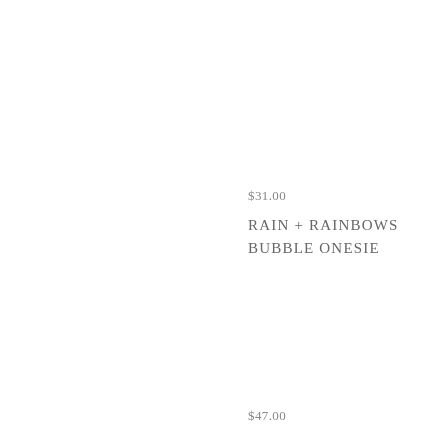$31.00
RAIN + RAINBOWS BUBBLE ONESIE
$47.00